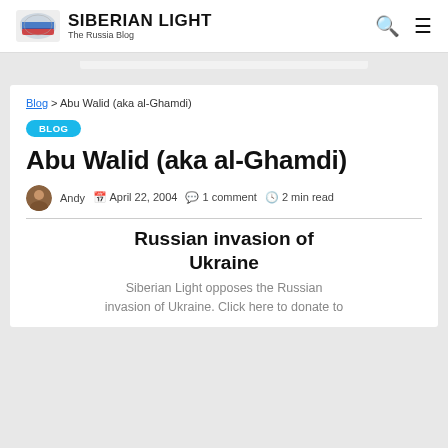SIBERIAN LIGHT — The Russia Blog
Blog > Abu Walid (aka al-Ghamdi)
BLOG
Abu Walid (aka al-Ghamdi)
Andy  April 22, 2004  1 comment  2 min read
Russian invasion of Ukraine
Siberian Light opposes the Russian invasion of Ukraine. Click here to donate to